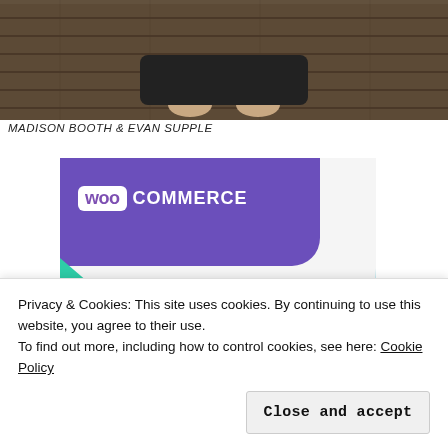[Figure (photo): Photo of a person sitting cross-legged on a wooden deck, barefoot, hands resting on knees, partial view from waist down]
MADISON BOOTH & EVAN SUPPLE
[Figure (screenshot): WooCommerce advertisement banner. Purple header with WooCommerce logo, green and cyan geometric shapes, text reading 'How to start selling subscriptions online', purple CTA button]
Privacy & Cookies: This site uses cookies. By continuing to use this website, you agree to their use.
To find out more, including how to control cookies, see here: Cookie Policy
Close and accept